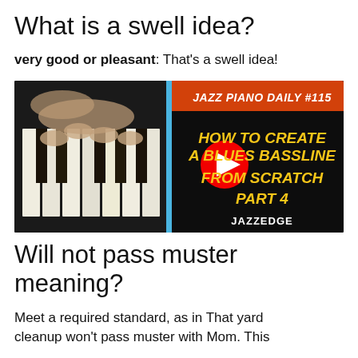What is a swell idea?
very good or pleasant: That's a swell idea!
[Figure (screenshot): YouTube video thumbnail for 'Jazz Piano Daily #115 – How to Create a Blues Bassline From Scratch Part 4' by Jazzedge, showing hands on piano keys on the left and bold yellow/white text on dark background on the right with a YouTube play button in the center.]
Will not pass muster meaning?
Meet a required standard, as in That yard cleanup won't pass muster with Mom. This